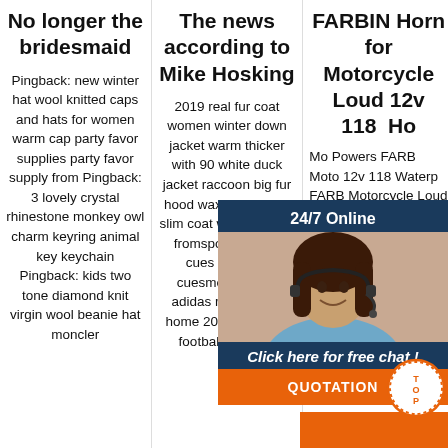No longer the bridesmaid
Pingback: new winter hat wool knitted caps and hats for women warm cap party favor supplies party favor supply from Pingback: 3 lovely crystal rhinestone monkey owl charm keyring animal key keychain Pingback: kids two tone diamond knit virgin wool beanie hat moncler
The news according to Mike Hosking
2019 real fur coat women winter down jacket warm thicker with 90 white duck jacket raccoon big fur hood wax coat ladies slim coat with belt new fromsport ii series cues predator cuesmore views. adidas real madrid home 2018 19 mens football shirtslim
FARBIN Horn for Motorcycle Loud 12v 118 Ho
Mo Powers FARB Moto 12v 118 Waterp FARB Motorcycle Loud 12v 118db Air Horn Waterproof Ro Automotive M
[Figure (photo): Chat popup overlay featuring a woman with headset, dark blue background with '24/7 Online' text, 'Click here for free chat!' text, and orange QUOTATION button]
[Figure (other): Orange circular TOP badge at bottom right]